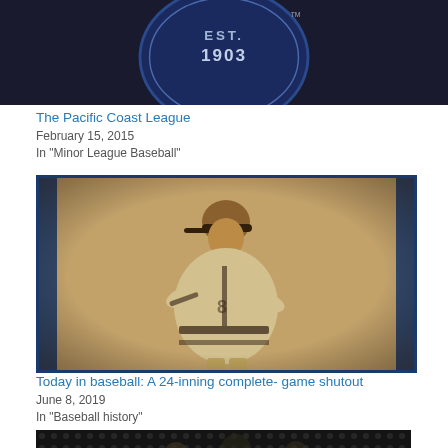[Figure (logo): Circular blue badge logo with EST. 1903 text and TM mark]
The Pacific Coast League
February 15, 2015
In "Minor League Baseball"
[Figure (photo): Vintage sepia-tone photograph of a baseball player in old-fashioned uniform leaning forward, with blue border/gradient on sides]
Today in baseball: A 24-inning complete- game shutout
June 8, 2019
In "Baseball history"
[Figure (photo): Partial view of a dark baseball-related photo with honeycomb/dot pattern overlay, partially cropped at bottom of page]